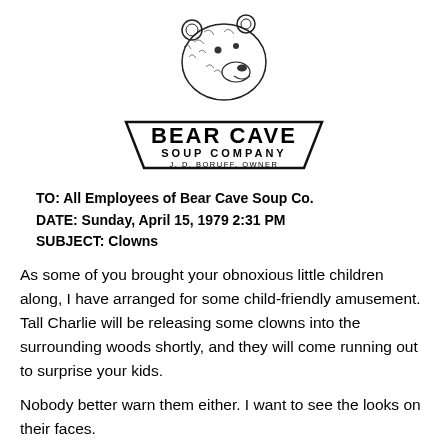[Figure (logo): Bear Cave Soup Company logo: a bear head illustration above a trapezoidal banner reading 'BEAR CAVE SOUP COMPANY J.D. BORUFF, OWNER']
TO: All Employees of Bear Cave Soup Co.
DATE: Sunday, April 15, 1979 2:31 PM
SUBJECT: Clowns
As some of you brought your obnoxious little children along, I have arranged for some child-friendly amusement. Tall Charlie will be releasing some clowns into the surrounding woods shortly, and they will come running out to surprise your kids.
Nobody better warn them either. I want to see the looks on their faces.